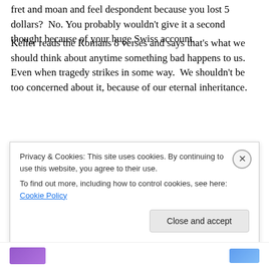fret and moan and feel despondent because you lost 5 dollars?  No. You probably wouldn't give it a second thought because of your huge Swiss account.
Keller reads the Romans 8 verses and says that's what we should think about anytime something bad happens to us.  Even when tragedy strikes in some way.  We shouldn't be too concerned about it, because of our eternal inheritance.
It is not to say that we have no need to think about this...
Privacy & Cookies: This site uses cookies. By continuing to use this website, you agree to their use.
To find out more, including how to control cookies, see here: Cookie Policy